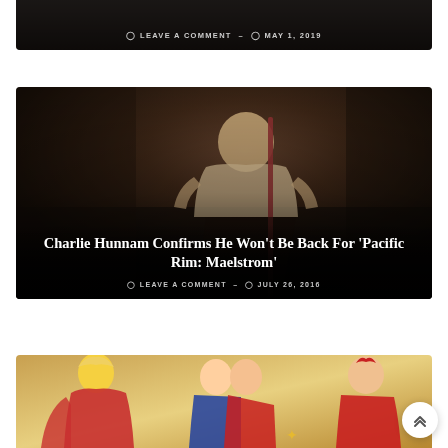[Figure (photo): Partially visible dark movie/article card at top of page with meta information]
LEAVE A COMMENT - MAY 1, 2019
[Figure (photo): Charlie Hunnam in a white tank top holding a staff/pole, dark background — article card for Pacific Rim Maelstrom article]
Charlie Hunnam Confirms He Won't Be Back For 'Pacific Rim: Maelstrom'
LEAVE A COMMENT - JULY 26, 2016
[Figure (illustration): Comic book artwork showing superhero characters, partially visible at bottom of page]